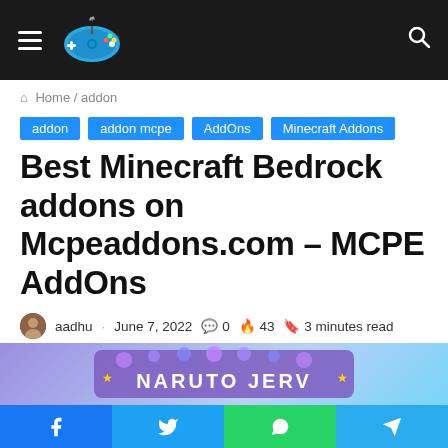Navigation header with hamburger menu, game controller logo, and search icon
Home / addon
addon
addon mcpe
AddOns
Minecraft Addons
Best Minecraft Bedrock addons on Mcpeaddons.com – MCPE AddOns
aadhu · June 7, 2022 💬 0 🔥 43 📄 3 minutes read
[Figure (illustration): Article featured image showing purple/blue themed graphic with 'NARUTO JERV' styled text logo]
Social share bar with Facebook, Twitter, WhatsApp, Telegram buttons